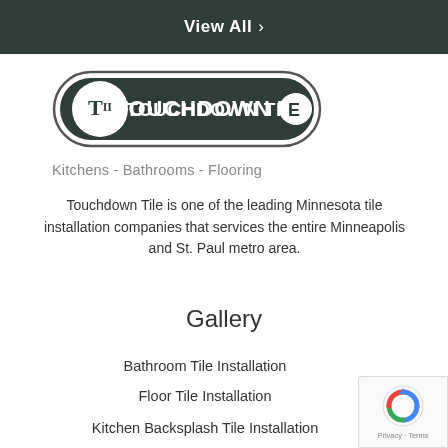View All
[Figure (logo): Touchdown Tile logo — oval badge with bold white text on dark background reading TOUCHDOWN TILE with a TT monogram icon]
Kitchens - Bathrooms - Flooring
Touchdown Tile is one of the leading Minnesota tile installation companies that services the entire Minneapolis and St. Paul metro area.
Gallery
Bathroom Tile Installation
Floor Tile Installation
Kitchen Backsplash Tile Installation